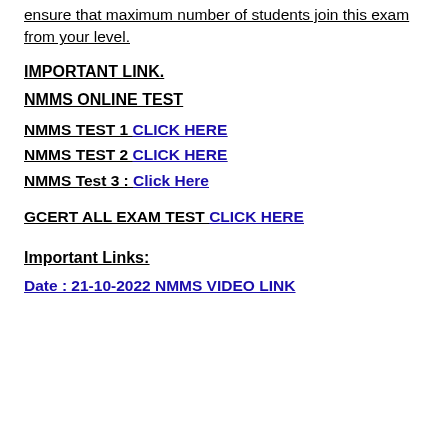ensure that maximum number of students join this exam from your level.
IMPORTANT LINK.
NMMS ONLINE TEST
NMMS TEST 1 CLICK HERE
NMMS TEST 2 CLICK HERE
NMMS Test 3 : Click Here
GCERT ALL EXAM TEST CLICK HERE
Important Links:
Date : 21-10-2022 NMMS VIDEO LINK